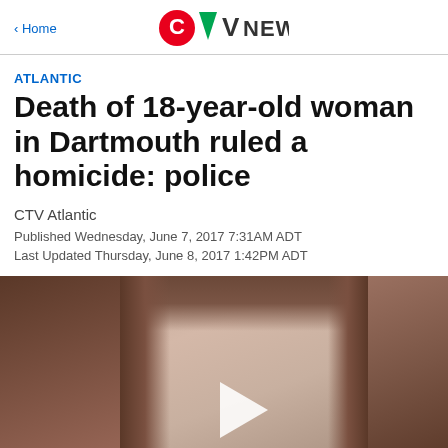CTV News
ATLANTIC
Death of 18-year-old woman in Dartmouth ruled a homicide: police
CTV Atlantic
Published Wednesday, June 7, 2017 7:31AM ADT
Last Updated Thursday, June 8, 2017 1:42PM ADT
[Figure (photo): Photo of young woman with long brown hair, with a video play button overlay. The image appears to be a three-panel photo strip.]